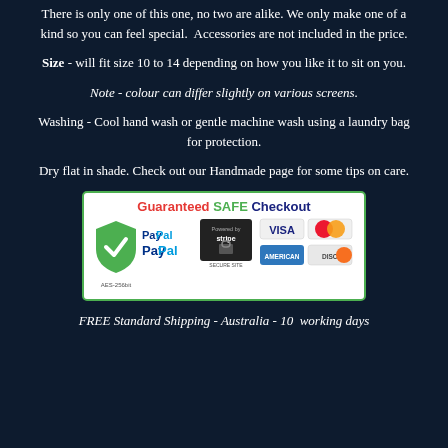There is only one of this one, no two are alike. We only make one of a kind so you can feel special. Accessories are not included in the price.
Size - will fit size 10 to 14 depending on how you like it to sit on you.
Note - colour can differ slightly on various screens.
Washing - Cool hand wash or gentle machine wash using a laundry bag for protection.
Dry flat in shade. Check out our Handmade page for some tips on care.
[Figure (infographic): Guaranteed SAFE Checkout banner with green shield (AES-256bit), PayPal logo, Stripe secure site lock, Visa, Mastercard, American Express, and Discover card logos]
FREE Standard Shipping - Australia - 10 working days